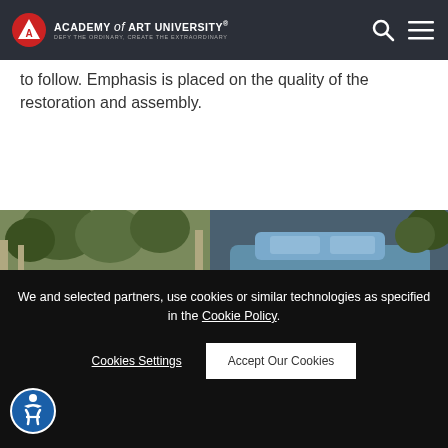Academy of Art University® — Defy the Ordinary, Create the Extraordinary
to follow. Emphasis is placed on the quality of the restoration and assembly.
[Figure (photo): Photo strip showing trees and a classic car (blue/grey) in front of a building]
We and selected partners, use cookies or similar technologies as specified in the Cookie Policy
Cookies Settings
Accept Our Cookies